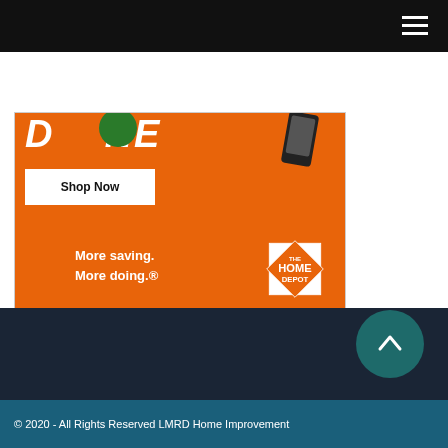Navigation bar with hamburger menu
[Figure (illustration): Home Depot advertisement on orange background showing 'DONE' text partially visible at top, a 'Shop Now' white button, 'More saving. More doing.' tagline, and The Home Depot orange diamond logo in the bottom right corner]
© 2020 - All Rights Reserved LMRD Home Improvement